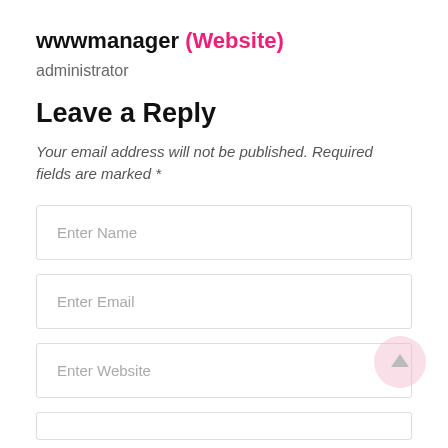wwwmanager (Website)
administrator
Leave a Reply
Your email address will not be published. Required fields are marked *
[Figure (screenshot): Form input field with placeholder text 'Enter Name']
[Figure (screenshot): Form input field with placeholder text 'Enter Email']
[Figure (screenshot): Form input field with placeholder text 'Enter Website']
[Figure (screenshot): Form input field (partially visible at bottom)]